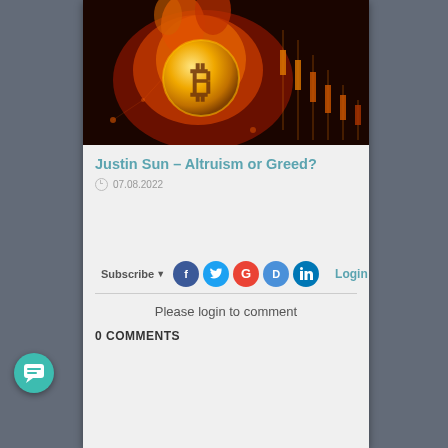[Figure (illustration): Bitcoin coin on fire with candlestick chart in background, dramatic orange and red tones]
Justin Sun – Altruism or Greed?
07.08.2022
Subscribe  Login
Please login to comment
0 COMMENTS